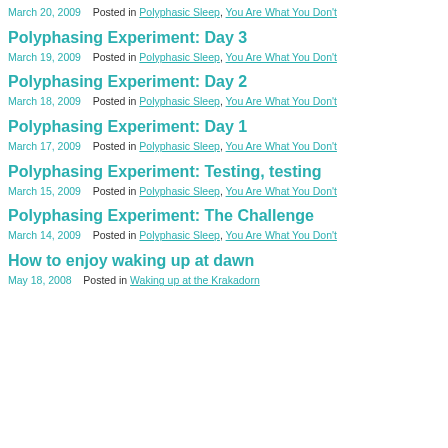March 20, 2009   Posted in Polyphasic Sleep, You Are What You Don't
Polyphasing Experiment: Day 3
March 19, 2009   Posted in Polyphasic Sleep, You Are What You Don't
Polyphasing Experiment: Day 2
March 18, 2009   Posted in Polyphasic Sleep, You Are What You Don't
Polyphasing Experiment: Day 1
March 17, 2009   Posted in Polyphasic Sleep, You Are What You Don't
Polyphasing Experiment: Testing, testing
March 15, 2009   Posted in Polyphasic Sleep, You Are What You Don't
Polyphasing Experiment: The Challenge
March 14, 2009   Posted in Polyphasic Sleep, You Are What You Don't
How to enjoy waking up at dawn
May 18, 2008   Posted in Waking up at the Krakadorn